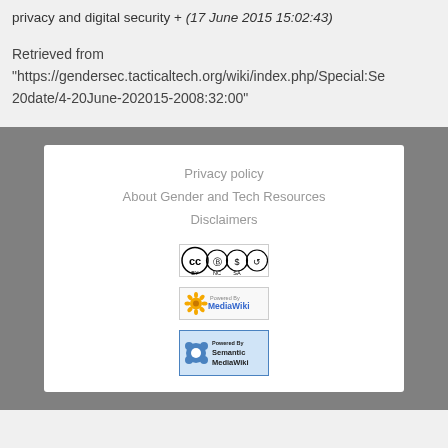privacy and digital security + (17 June 2015 15:02:43)
Retrieved from "https://gendersec.tacticaltech.org/wiki/index.php/Special:Se 20date/4-20June-202015-2008:32:00"
Privacy policy
About Gender and Tech Resources
Disclaimers
[Figure (logo): Creative Commons BY-NC-SA license badge]
[Figure (logo): Powered By MediaWiki badge]
[Figure (logo): Powered By Semantic MediaWiki badge]